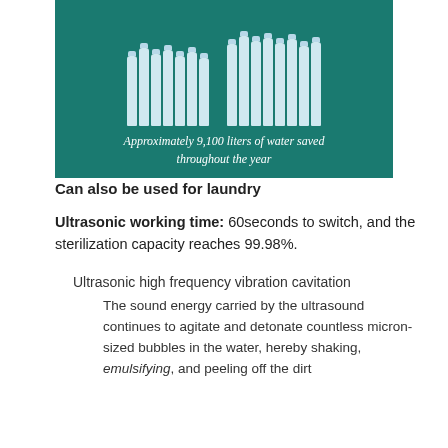[Figure (illustration): Teal/green background with groups of white water bottles arranged side by side, with italic white text below reading: Approximately 9,100 liters of water saved throughout the year]
Approximately 9,100 liters of water saved throughout the year
Can also be used for laundry
Ultrasonic working time: 60seconds to switch, and the sterilization capacity reaches 99.98%.
Ultrasonic high frequency vibration cavitation
The sound energy carried by the ultrasound continues to agitate and detonate countless micron-sized bubbles in the water, hereby shaking, emulsifying, and peeling off the dirt